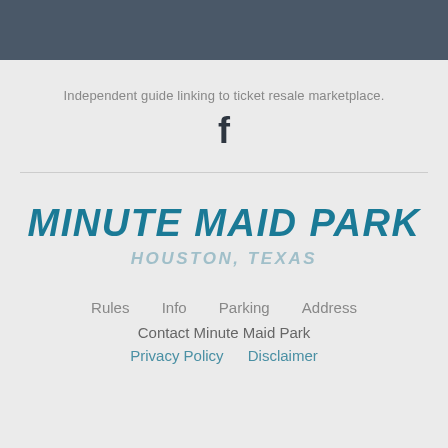Independent guide linking to ticket resale marketplace.
[Figure (logo): Facebook icon - bold lowercase f]
MINUTE MAID PARK
HOUSTON, TEXAS
Rules   Info   Parking   Address
Contact Minute Maid Park
Privacy Policy   Disclaimer